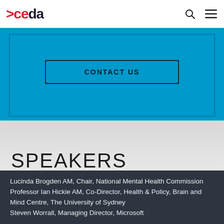>ceda
[Figure (other): Blue contact section with 'CONTACT US' button outline]
SPEAKERS
Lucinda Brogden AM, Chair, National Mental Health Commission
Professor Ian Hickie AM, Co-Director, Health & Policy, Brain and Mind Centre, The University of Sydney
Steven Worrall, Managing Director, Microsoft